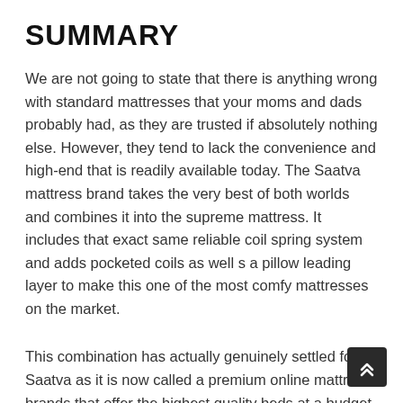SUMMARY
We are not going to state that there is anything wrong with standard mattresses that your moms and dads probably had, as they are trusted if absolutely nothing else. However, they tend to lack the convenience and high-end that is readily available today. The Saatva mattress brand takes the very best of both worlds and combines it into the supreme mattress. It includes that exact same reliable coil spring system and adds pocketed coils as well s a pillow leading layer to make this one of the most comfy mattresses on the market.
This combination has actually genuinely settled for Saatva as it is now called a premium online mattress brands that offer the highest quality beds at a budget friendly rate. Be warned, this is not the very